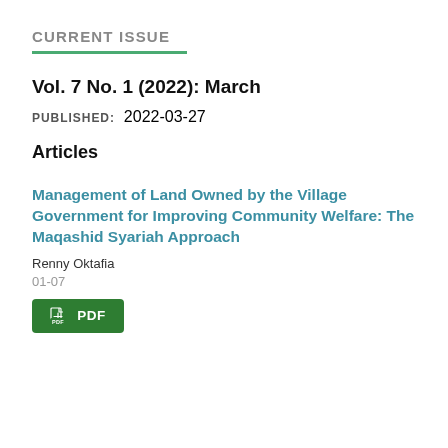CURRENT ISSUE
Vol. 7 No. 1 (2022): March
PUBLISHED: 2022-03-27
Articles
Management of Land Owned by the Village Government for Improving Community Welfare: The Maqashid Syariah Approach
Renny Oktafia
01-07
PDF